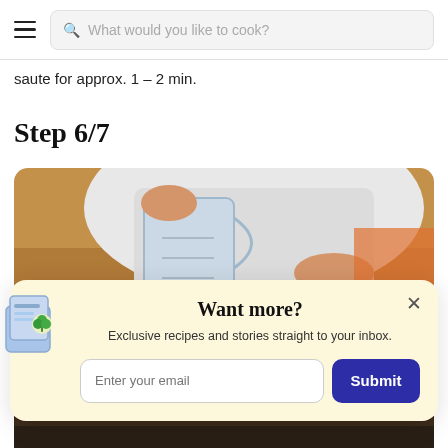What would you like to cook?
saute for approx. 1 – 2 min.
Step 6/7
[Figure (photo): Person pouring flour or liquid from a measuring jug into a pan, close-up of hands and white apron]
Want more?
Exclusive recipes and stories straight to your inbox.
[Figure (photo): Bottom portion of cooking scene, dark lower section visible]